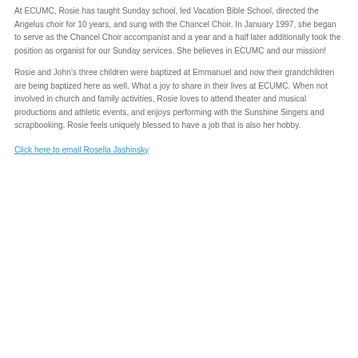At ECUMC, Rosie has taught Sunday school, led Vacation Bible School, directed the Angelus choir for 10 years, and sung with the Chancel Choir. In January 1997, she began to serve as the Chancel Choir accompanist and a year and a half later additionally took the position as organist for our Sunday services. She believes in ECUMC and our mission!
Rosie and John’s three children were baptized at Emmanuel and now their grandchildren are being baptized here as well. What a joy to share in their lives at ECUMC. When not involved in church and family activities, Rosie loves to attend theater and musical productions and athletic events, and enjoys performing with the Sunshine Singers and scrapbooking. Rosie feels uniquely blessed to have a job that is also her hobby.
Click here to email Rosella Jashinsky